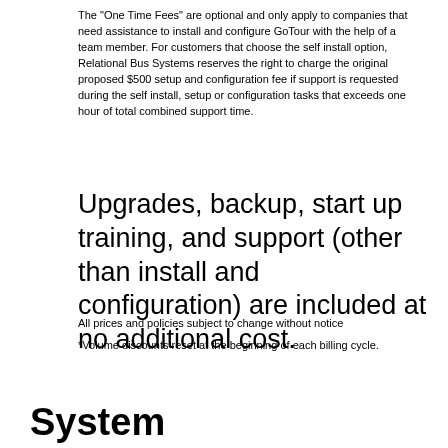The "One Time Fees" are optional and only apply to companies that need assistance to install and configure GoTour with the help of a team member. For customers that choose the self install option, Relational Bus Systems reserves the right to charge the original proposed $500 setup and configuration fee if support is requested during the self install, setup or configuration tasks that exceeds one hour of total combined support time.
Upgrades, backup, start up training, and support (other than install and configuration) are included at no additional cost.
All prices and policies subject to change without notice
*Volume discounts reset at the beginning of each billing cycle.
System Requirements